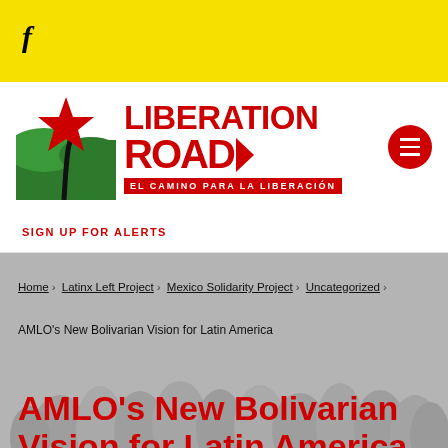f
[Figure (logo): Liberation Road logo with red star, green hills, and black road. Text reads LIBERATION ROAD / EL CAMINO PARA LA LIBERACIÓN]
SIGN UP FOR ALERTS
[Figure (photo): Grayscale background photo of a crowd of people]
Home > Latinx Left Project > Mexico Solidarity Project > Uncategorized >
AMLO's New Bolivarian Vision for Latin America
AMLO's New Bolivarian Vision for Latin America